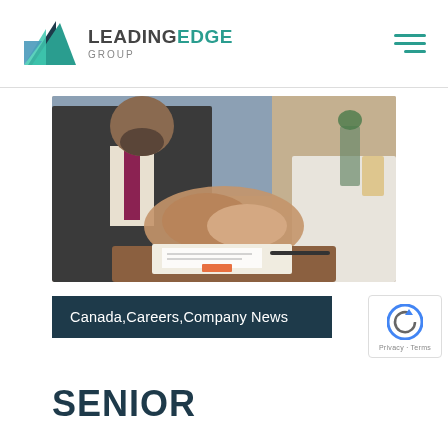[Figure (logo): Leading Edge Group logo with triangular icon in teal/blue/dark teal and company name text]
[Figure (photo): Two people shaking hands across a desk with documents and a clipboard visible, business meeting setting]
Canada,Careers,Company News
SENIOR